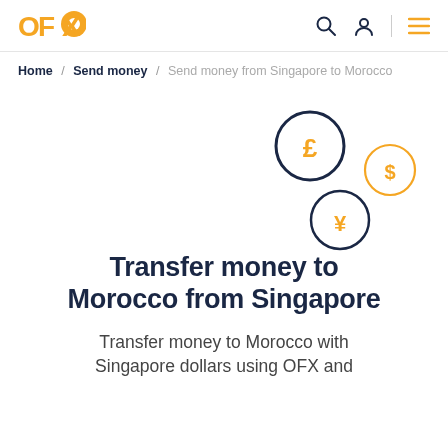OFX — navigation bar with search, account, and menu icons
Home / Send money / Send money from Singapore to Morocco
[Figure (illustration): Three currency coin icons: a large pound (£) coin with dark navy border, a medium dollar ($) coin with orange border, and a medium yen (¥) coin with dark navy border, arranged in a scattered cluster on the right side.]
Transfer money to Morocco from Singapore
Transfer money to Morocco with Singapore dollars using OFX and